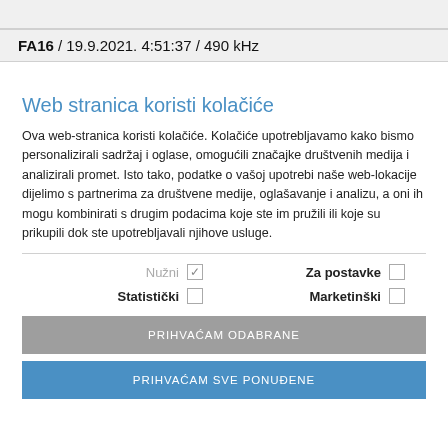FA16 / 19.9.2021. 4:51:37 / 490 kHz
Web stranica koristi kolačiće
Ova web-stranica koristi kolačiće. Kolačiće upotrebljavamo kako bismo personalizirali sadržaj i oglase, omogućili značajke društvenih medija i analizirali promet. Isto tako, podatke o vašoj upotrebi naše web-lokacije dijelimo s partnerima za društvene medije, oglašavanje i analizu, a oni ih mogu kombinirati s drugim podacima koje ste im pružili ili koje su prikupili dok ste upotrebljavali njihove usluge.
Nužni [checked] Za postavke [ ] Statistički [ ] Marketinški [ ]
PRIHVAĆAM ODABRANE
PRIHVAĆAM SVE PONUĐENE